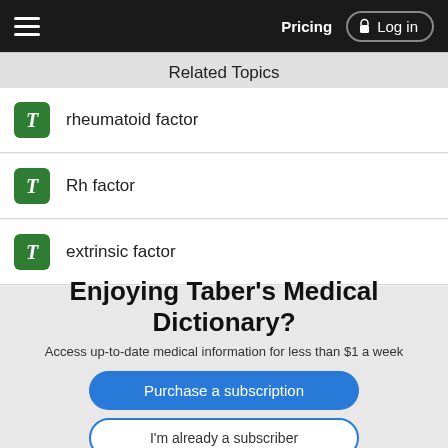Pricing  Log in
Related Topics
rheumatoid factor
Rh factor
extrinsic factor
quality factor
lethal factor
growth factor
Enjoying Taber's Medical Dictionary?
Access up-to-date medical information for less than $1 a week
Purchase a subscription
I'm already a subscriber